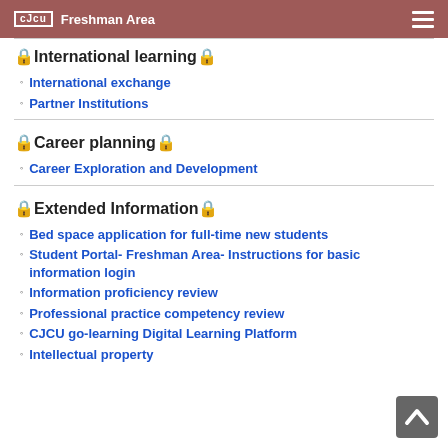CJCU Freshman Area
🔒International learning🔒
International exchange
Partner Institutions
🔒Career planning🔒
Career Exploration and Development
🔒Extended Information🔒
Bed space application for full-time new students
Student Portal- Freshman Area- Instructions for basic information login
Information proficiency review
Professional practice competency review
CJCU go-learning Digital Learning Platform
Intellectual property